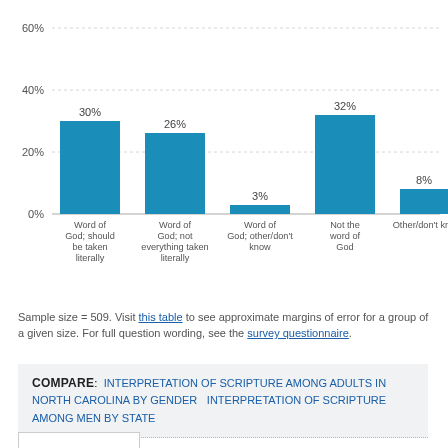[Figure (bar-chart): Interpretation of Scripture]
Sample size = 509. Visit this table to see approximate margins of error for a group of a given size. For full question wording, see the survey questionnaire.
COMPARE: INTERPRETATION OF SCRIPTURE AMONG ADULTS IN NORTH CAROLINA BY GENDER   INTERPRETATION OF SCRIPTURE AMONG MEN BY STATE